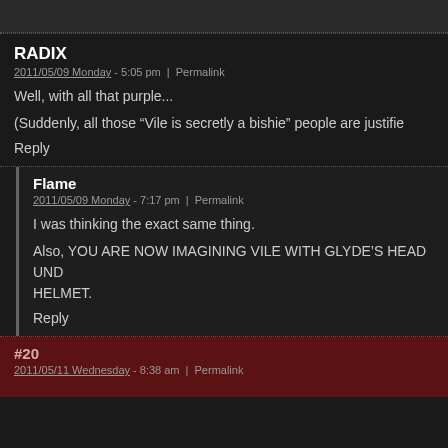RADIX
2011/05/09 Monday - 5:05 pm | Permalink
Well, with all that purple...
(Suddenly, all those “Vile is secretly a bishie” people are justified.
Reply
Flame
2011/05/09 Monday - 7:17 pm | Permalink
I was thinking the exact same thing.
Also, YOU ARE NOW IMAGINING VILE WITH GLYDE’S HEAD UND HELMET.
Reply
#20
2011/05/11 Wednesday - 8:38 am | Permalink